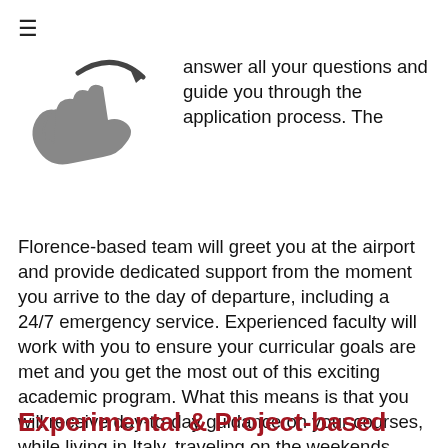[Figure (illustration): Gray hand with an upward-curving arrow icon, representing guidance or support]
answer all your questions and guide you through the application process. The Florence-based team will greet you at the airport and provide dedicated support from the moment you arrive to the day of departure, including a 24/7 emergency service. Experienced faculty will work with you to ensure your curricular goals are met and you get the most out of this exciting academic program. What this means is that you will receive day-to-day guidance on your courses, while living in Italy, traveling on the weekends, and adopting Florence as your new home.
Experimental & Project-based